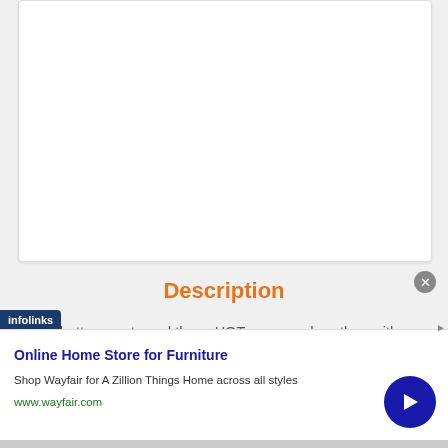[Figure (other): White card / image placeholder area at top of page]
Description
What better way to end these HOT summer days than with a Popsicle 5K?!!
Come join us for a 5K and finish with nice cold popsicles finishing by Gordon White Park!  The course will be an out and back on the West End Trail of the BeltLine, starting & finishing by White Park; Check-in will be in the park.  Come on out...
[Figure (screenshot): Infolinks advertisement banner: Online Home Store for Furniture - Shop Wayfair for A Zillion Things Home across all styles - www.wayfair.com]